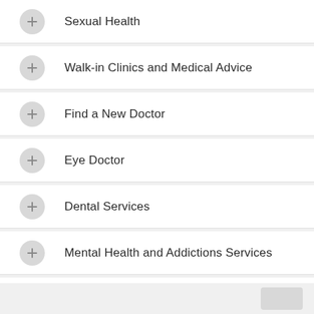Sexual Health
Walk-in Clinics and Medical Advice
Find a New Doctor
Eye Doctor
Dental Services
Mental Health and Addictions Services
HIV and AIDS Services